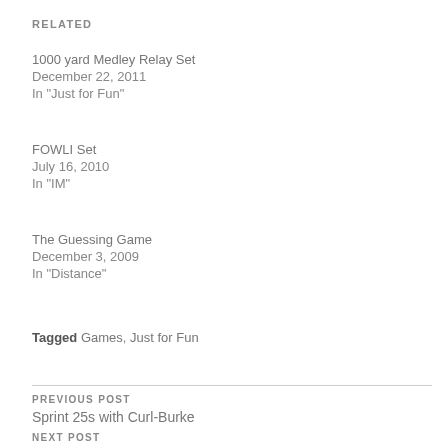RELATED
1000 yard Medley Relay Set
December 22, 2011
In "Just for Fun"
FOWLI Set
July 16, 2010
In "IM"
The Guessing Game
December 3, 2009
In "Distance"
Tagged Games, Just for Fun
PREVIOUS POST
Sprint 25s with Curl-Burke
NEXT POST